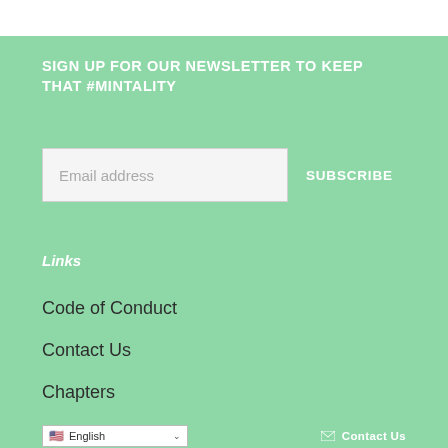SIGN UP FOR OUR NEWSLETTER TO KEEP THAT #MINTALITY
Email address
SUBSCRIBE
Links
Code of Conduct
Contact Us
Chapters
English
Contact Us